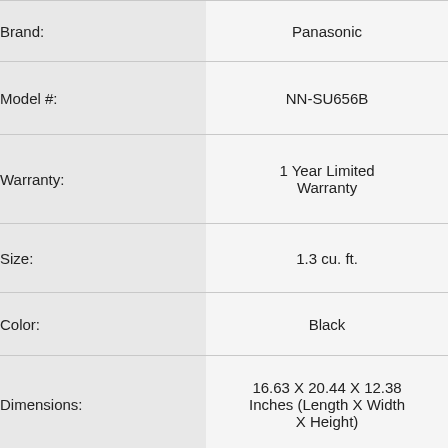| Attribute | Value |
| --- | --- |
| Brand: | Panasonic |
| Model #: | NN-SU656B |
| Warranty: | 1 Year Limited Warranty |
| Size: | 1.3 cu. ft. |
| Color: | Black |
| Dimensions: | 16.63 X 20.44 X 12.38 Inches (Length X Width X Height) |